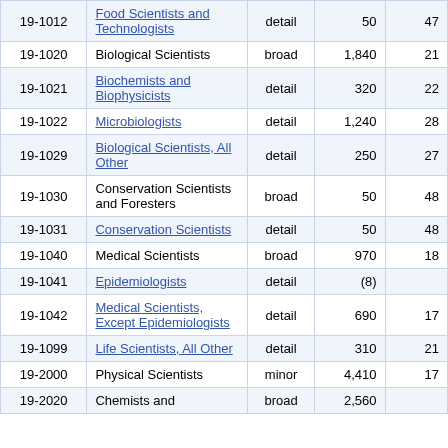| Code | Occupation | Level | Col4 | Col5 |
| --- | --- | --- | --- | --- |
| 19-1012 | Food Scientists and Technologists | detail | 50 | 47 |
| 19-1020 | Biological Scientists | broad | 1,840 | 21 |
| 19-1021 | Biochemists and Biophysicists | detail | 320 | 22 |
| 19-1022 | Microbiologists | detail | 1,240 | 28 |
| 19-1029 | Biological Scientists, All Other | detail | 250 | 27 |
| 19-1030 | Conservation Scientists and Foresters | broad | 50 | 48 |
| 19-1031 | Conservation Scientists | detail | 50 | 48 |
| 19-1040 | Medical Scientists | broad | 970 | 18 |
| 19-1041 | Epidemiologists | detail | (8) |  |
| 19-1042 | Medical Scientists, Except Epidemiologists | detail | 690 | 17 |
| 19-1099 | Life Scientists, All Other | detail | 310 | 21 |
| 19-2000 | Physical Scientists | minor | 4,410 | 17 |
| 19-2020 | Chemists and ... | broad | 2,560 |  |